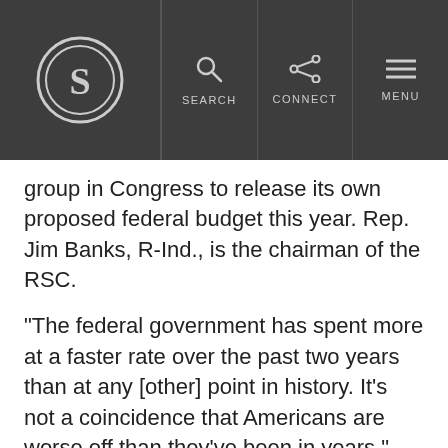[Figure (logo): Navigation header bar with circular S logo on dark grey background, Search, Connect, and Menu icons]
group in Congress to release its own proposed federal budget this year. Rep. Jim Banks, R-Ind., is the chairman of the RSC.
“The federal government has spent more at a faster rate over the past two years than at any [other] point in history. It’s not a coincidence that Americans are worse off than they’ve been in years,” Banks said in a written statement, adding:
Reckless spending has failed, and conservatives in Congress should take the opportunity to course correct, rein in spending, and save America from a dire fiscal future.